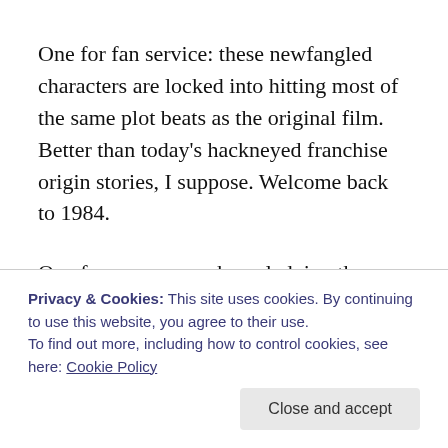One for fan service: these newfangled characters are locked into hitting most of the same plot beats as the original film. Better than today's hackneyed franchise origin stories, I suppose. Welcome back to 1984.
One for progress: acknowledging the differences between 1984 and 2016. With the rise of the Internet, computer graphics and the larger conspiracy culture, the Ghostbusters and the paranormal apparitions they hunt would be all too easily laughed off today. Feig and co-
Privacy & Cookies: This site uses cookies. By continuing to use this website, you agree to their use.
To find out more, including how to control cookies, see here: Cookie Policy
know anyways. Feig brings back all the most familiar